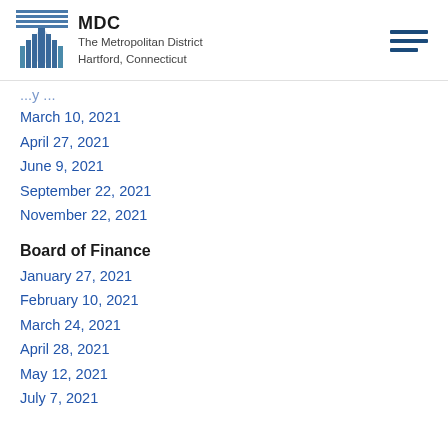MDC The Metropolitan District Hartford, Connecticut
March 10, 2021
April 27, 2021
June 9, 2021
September 22, 2021
November 22, 2021
Board of Finance
January 27, 2021
February 10, 2021
March 24, 2021
April 28, 2021
May 12, 2021
July 7, 2021